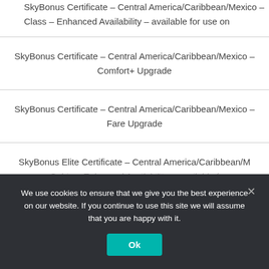SkyBonus Certificate – Central America/Caribbean/Mexico – Class – Enhanced Availability – available for use on
SkyBonus Certificate – Central America/Caribbean/Mexico – Comfort+ Upgrade
SkyBonus Certificate – Central America/Caribbean/Mexico – Fare Upgrade
SkyBonus Elite Certificate – Central America/Caribbean/M – Cabin – Enhanced Availability – available f
We use cookies to ensure that we give you the best experience on our website. If you continue to use this site we will assume that you are happy with it.